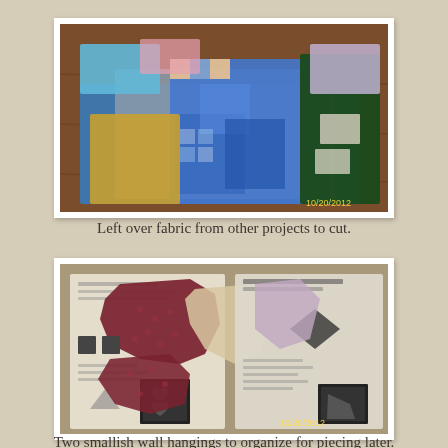[Figure (photo): Photo of leftover fabric pieces stacked and spread on a wooden table, various colors including blue, teal, and patterned fabrics. Date stamp 10/20/2012 visible in lower right corner.]
Left over fabric from other projects to cut.
[Figure (photo): Photo of quilt pattern instructions/books open on a table with dark red/maroon fabric pieces cut or arranged on top of the pages. Date stamp 10/20/2012 visible. Instructions show wall hanging patterns with heart and diamond shapes.]
Two smallish wall hangings to organize for piecing later.